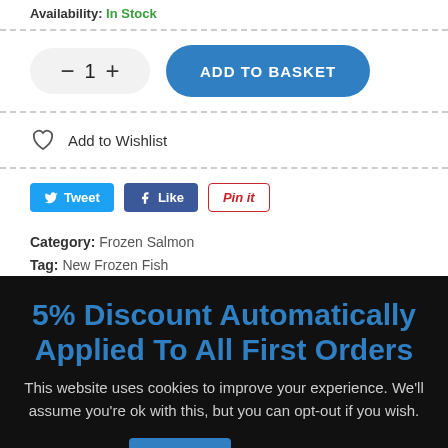Availability: In Stock
1 ADD TO BASKET
Add to Wishlist
Tweet  Like  Pin it
Category: Frozen Salmon
Tag: New Frozen Fish
5% Discount Automatically Applied To All First Orders
This website uses cookies to improve your experience. We'll assume you're ok with this, but you can opt-out if you wish.
Accept  Read More